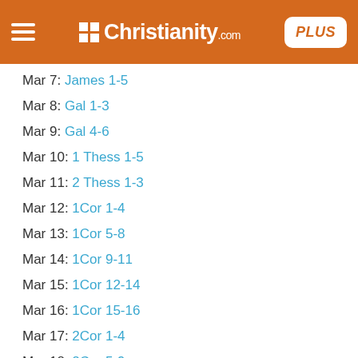Christianity.com PLUS
Mar 7: James 1-5
Mar 8: Gal 1-3
Mar 9: Gal 4-6
Mar 10: 1 Thess 1-5
Mar 11: 2 Thess 1-3
Mar 12: 1Cor 1-4
Mar 13: 1Cor 5-8
Mar 14: 1Cor 9-11
Mar 15: 1Cor 12-14
Mar 16: 1Cor 15-16
Mar 17: 2Cor 1-4
Mar 18: 2Cor 5-9
Mar 19: 2Cor 10-13